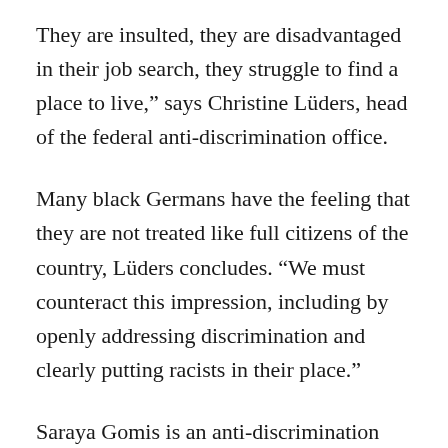They are insulted, they are disadvantaged in their job search, they struggle to find a place to live,” says Christine Lüders, head of the federal anti-discrimination office.
Many black Germans have the feeling that they are not treated like full citizens of the country, Lüders concludes. “We must counteract this impression, including by openly addressing discrimination and clearly putting racists in their place.”
Saraya Gomis is an anti-discrimination commissioner for the Berlin Education Department and volunteers against racism. When she goes to the opera with young Arabs, Turks and black people in the bourgeois Berlin-